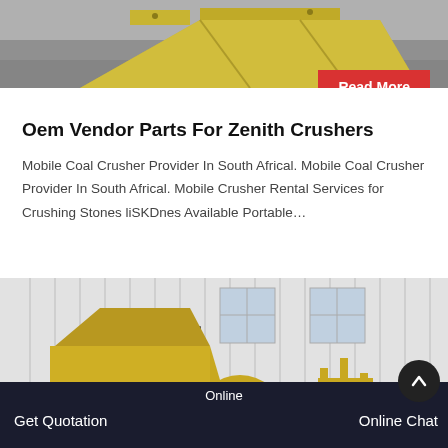[Figure (photo): Top portion of yellow industrial crusher/equipment on concrete floor, partial view]
Read More
Oem Vendor Parts For Zenith Crushers
Mobile Coal Crusher Provider In South Africal. Mobile Coal Crusher Provider In South Africal. Mobile Crusher Rental Services for Crushing Stones liSKDnes Available Portable…
[Figure (photo): Large yellow industrial jaw crusher/impact crusher machine parked outside a white corrugated metal building/warehouse]
Get Quotation   Online   Online Chat